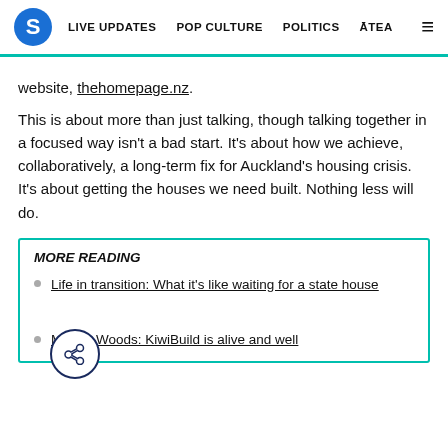S | LIVE UPDATES | POP CULTURE | POLITICS | ĀTEA
website, thehomepage.nz.
This is about more than just talking, though talking together in a focused way isn't a bad start. It's about how we achieve, collaboratively, a long-term fix for Auckland's housing crisis. It's about getting the houses we need built. Nothing less will do.
MORE READING
Life in transition: What it's like waiting for a state house
Megan Woods: KiwiBuild is alive and well